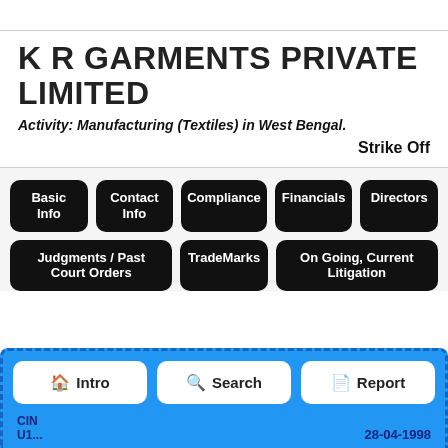K R GARMENTS PRIVATE LIMITED
Activity: Manufacturing (Textiles) in West Bengal.
Strike Off
Basic Info
Contact Info
Compliance
Financials
Directors
Judgments / Past Court Orders
TradeMarks
On Going, Current Litigation
Intro
Search
Report
CIN U1...
28-04-1998